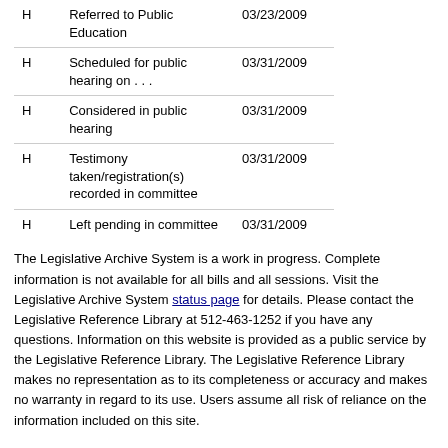|  |  |  |
| --- | --- | --- |
| H | Referred to Public Education | 03/23/2009 |
| H | Scheduled for public hearing on . . . | 03/31/2009 |
| H | Considered in public hearing | 03/31/2009 |
| H | Testimony taken/registration(s) recorded in committee | 03/31/2009 |
| H | Left pending in committee | 03/31/2009 |
The Legislative Archive System is a work in progress. Complete information is not available for all bills and all sessions. Visit the Legislative Archive System status page for details. Please contact the Legislative Reference Library at 512-463-1252 if you have any questions. Information on this website is provided as a public service by the Legislative Reference Library. The Legislative Reference Library makes no representation as to its completeness or accuracy and makes no warranty in regard to its use. Users assume all risk of reliance on the information included on this site.